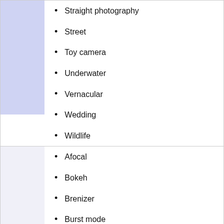Straight photography
Street
Toy camera
Underwater
Vernacular
Wedding
Wildlife
Afocal
Bokeh
Brenizer
Burst mode
Contre-jour
Cyanotype
ETTR
Fill flash
Fireworks
Harris shutter
High speed